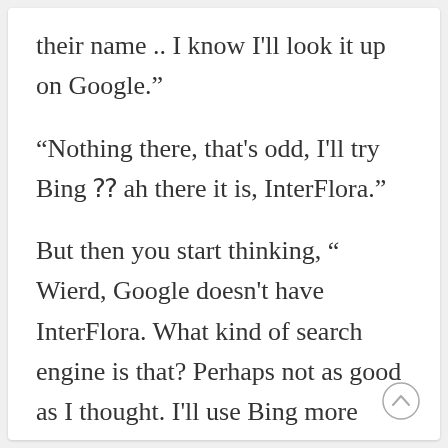their name .. I know I’ll look it up on Google.”
“Nothing there, that’s odd, I’ll try Bing ⁇ ah there it is, InterFlora.”
But then you start thinking, “ Wierd, Google doesn’t have InterFlora. What kind of search engine is that? Perhaps not as good as I thought. I’ll use Bing more often.”